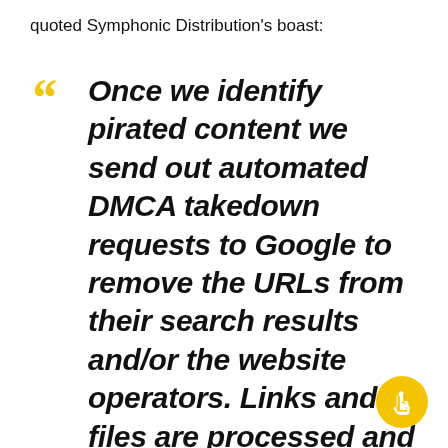quoted Symphonic Distribution's boast:
Once we identify pirated content we send out automated DMCA takedown requests to Google to remove the URLs from their search results and/or the website operators. Links and files are processed and removed as soon as possible because of Topple Track's relationship wi...